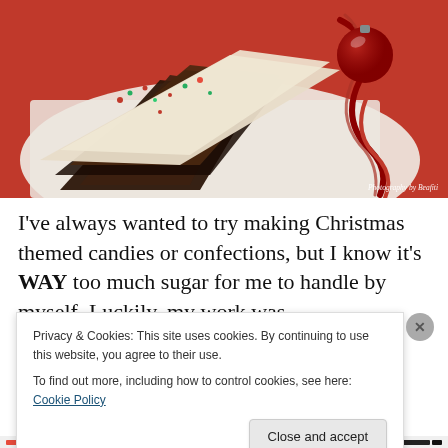[Figure (photo): Stacked pieces of chocolate peppermint bark with red and green candy pieces on white tissue paper, with red curling ribbon and ornament in background. Photography credit: Photography by Beafiti]
I've always wanted to try making Christmas themed candies or confections, but I know it's WAY too much sugar for me to handle by myself. Luckily, my work was
Privacy & Cookies: This site uses cookies. By continuing to use this website, you agree to their use.
To find out more, including how to control cookies, see here: Cookie Policy
Close and accept